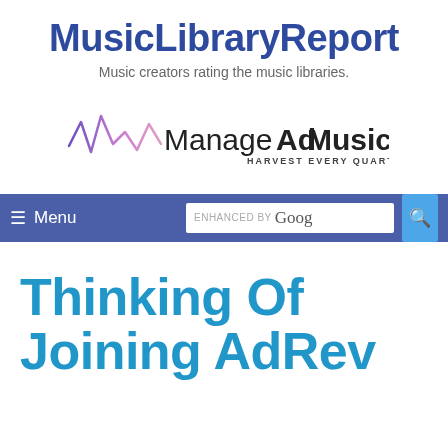MusicLibraryReport
Music creators rating the music libraries.
[Figure (logo): ManageAdMusic logo with waveform graphic and text 'ManageAdMusic HARVEST EVERY QUARTER']
[Figure (screenshot): Navigation bar with hamburger Menu icon and Google enhanced search box]
Thinking Of Joining AdRev